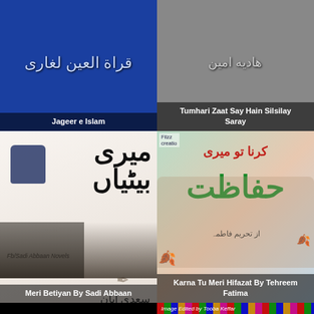[Figure (illustration): Blue background book cover with Urdu text and caption 'Jageer e Islam']
[Figure (illustration): Gray background book cover with Urdu author name and title 'Tumhari Zaat Say Hain Silsilay Saray']
[Figure (illustration): White/light book cover with large Urdu text 'Meri Betiyan' and author 'Sadi Abbaan', caption at bottom]
[Figure (illustration): Teal/colorful drama poster with Urdu text and couple photo, caption 'Karna Tu Meri Hifazat By Tehreem Fatima']
[Figure (illustration): Black background with large gold Urdu calligraphy text]
[Figure (illustration): Stained glass window with veiled figure, decorative colorful border, handwritten label 'Image Edited by Tooba Keffar']